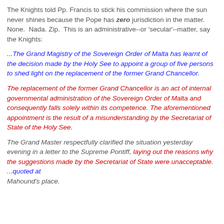The Knights told Pp. Francis to stick his commission where the sun never shines because the Pope has zero jurisdiction in the matter.  None.  Nada. Zip.  This is an administrative--or 'secular'--matter, say the Knights:
...The Grand Magistry of the Sovereign Order of Malta has learnt of the decision made by the Holy See to appoint a group of five persons to shed light on the replacement of the former Grand Chancellor.
The replacement of the former Grand Chancellor is an act of internal governmental administration of the Sovereign Order of Malta and consequently falls solely within its competence. The aforementioned appointment is the result of a misunderstanding by the Secretariat of State of the Holy See.
The Grand Master respectfully clarified the situation yesterday evening in a letter to the Supreme Pontiff, laying out the reasons why the suggestions made by the Secretariat of State were unacceptable. ...quoted at Mahound's place.